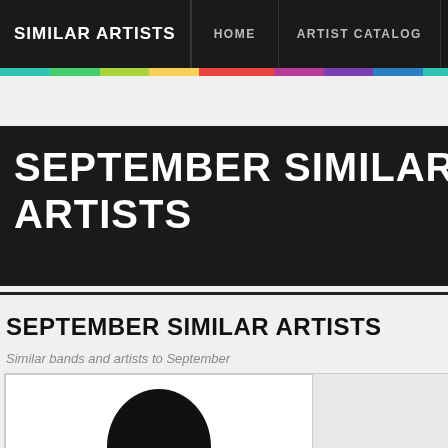SIMILAR ARTISTS | HOME | ARTIST CATALOG | HOT ARTISTS
SEPTEMBER SIMILAR ARTISTS
SEPTEMBER SIMILAR ARTISTS
Similar bands and artists to September
[Figure (photo): Silhouette of an artist/person, placeholder image within an artist card]